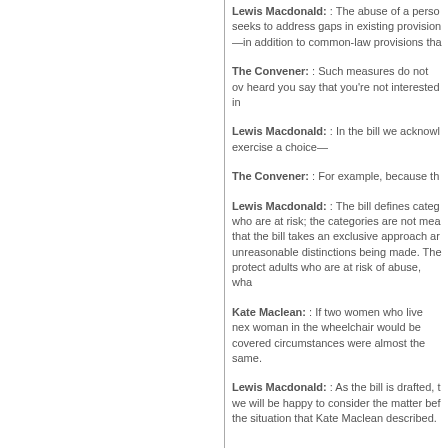Lewis Macdonald: : The abuse of a person seeks to address gaps in existing provision—in addition to common-law provisions tha
The Convener: : Such measures do not ov heard you say that you're not interested in
Lewis Macdonald: : In the bill we acknowl exercise a choice—
The Convener: : For example, because th
Lewis Macdonald: : The bill defines categ who are at risk; the categories are not mea that the bill takes an exclusive approach ar unreasonable distinctions being made. The protect adults who are at risk of abuse, wha
Kate Maclean: : If two women who live nex woman in the wheelchair would be covered circumstances were almost the same.
Lewis Macdonald: : As the bill is drafted, t we will be happy to consider the matter bef the situation that Kate Maclean described.